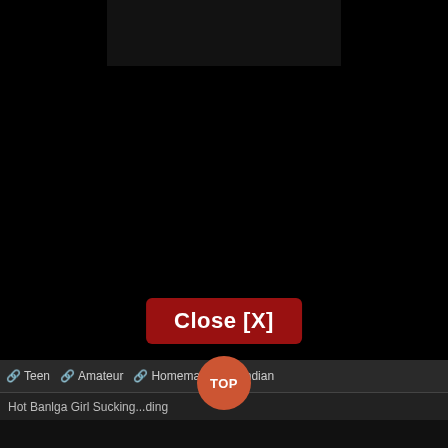[Figure (screenshot): Dark video player interface screenshot with mostly black background and a faint video thumbnail in upper center area]
Close [X]
🔗 Teen  🔗 Amateur  🔗 Homemade  🔗 Indian
TOP
Hot Banlga Girl Sucking...ding